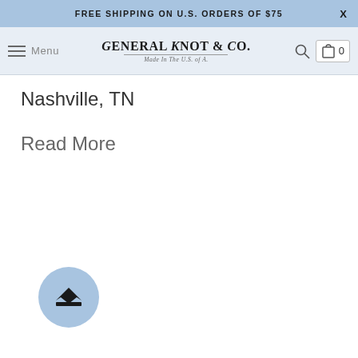FREE SHIPPING ON U.S. ORDERS OF $75 X
[Figure (screenshot): General Knot & Co. website navigation bar with hamburger menu, brand logo, search icon, and shopping bag with count 0]
Nashville, TN
Read More
[Figure (illustration): Round blue circle button with a crown icon in the center]